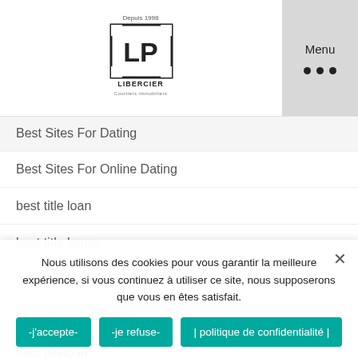Libercier logo and Menu
Best Sites For Dating
Best Sites For Online Dating
best title loan
best title loans
best title loans near me
best title loans online
best titleloan
beste-spirituele-datingwebsites sites
besthookupwebsites reviews
besthookupweb...
Nous utilisons des cookies pour vous garantir la meilleure expérience, si vous continuez à utiliser ce site, nous supposerons que vous en êtes satisfait.
-j'accepte-   -je refuse-   | politique de confidentialité |